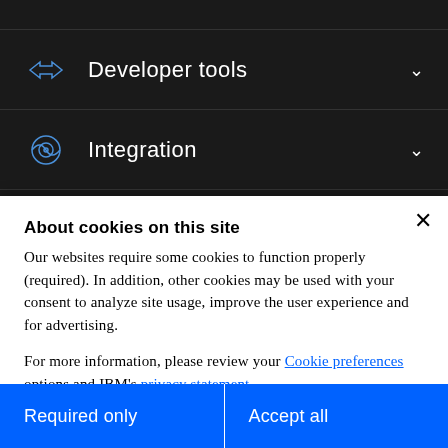Developer tools
Integration
Internet of things
About cookies on this site
Our websites require some cookies to function properly (required). In addition, other cookies may be used with your consent to analyze site usage, improve the user experience and for advertising.
For more information, please review your Cookie preferences options and IBM's privacy statement.
Required only
Accept all